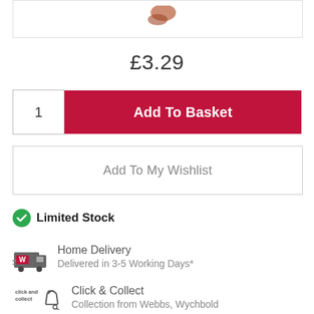[Figure (photo): Product image partially visible at top of page]
£3.29
1
Add To Basket
Add To My Wishlist
Limited Stock
Home Delivery
Delivered in 3-5 Working Days*
Click & Collect
Collection from Webbs, Wychbold